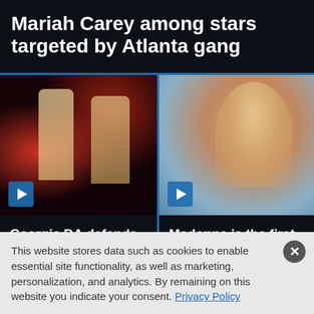Mariah Carey among stars targeted by Atlanta gang
[Figure (photo): Two men in stylish outfits at a nightclub event with red lighting]
[Figure (photo): Blonde woman smiling, likely at a public event]
Georgia DA defends using Young Thug's lyrics as evidence
Madonna is the first woman to score top 10 albums across five decades
This website stores data such as cookies to enable essential site functionality, as well as marketing, personalization, and analytics. By remaining on this website you indicate your consent. Privacy Policy